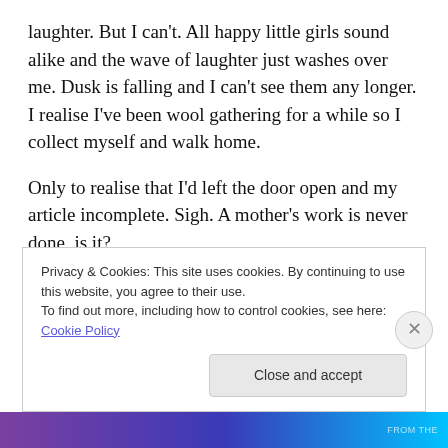laughter. But I can't. All happy little girls sound alike and the wave of laughter just washes over me. Dusk is falling and I can't see them any longer. I realise I've been wool gathering for a while so I collect myself and walk home.
Only to realise that I'd left the door open and my article incomplete. Sigh. A mother's work is never done, is it?
But this is not the end. Picture abhi baaki hai mere dost.
Later that evening the two little figures stroll back home, shadows lengthening in the street lights. I'm always
Privacy & Cookies: This site uses cookies. By continuing to use this website, you agree to their use.
To find out more, including how to control cookies, see here: Cookie Policy
Close and accept